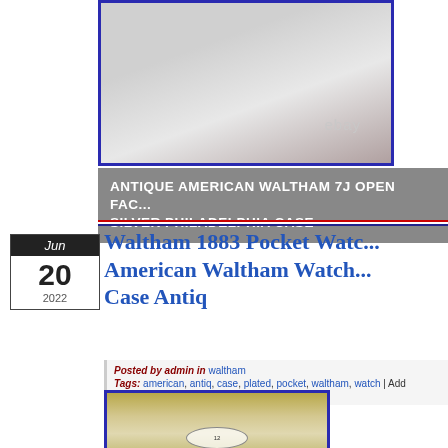[Figure (photo): Close-up photo of a silver pocket watch case being held, with eBay watermark]
ANTIQUE AMERICAN WALTHAM 7J OPEN FAC... SILVER PHILADELPHIA CASE
Jun 20 2022
Waltham 1883 Pocket Watch... American Waltham Watch... Case Antiq
Posted by admin in waltham
Tags: american, antiq, case, plated, pocket, waltham, watch | Add comme...
[Figure (photo): Photo of an antique Waltham pocket watch with gold-toned case, showing watch face with numerals]